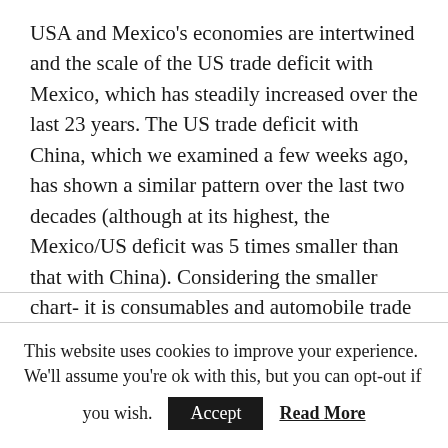USA and Mexico's economies are intertwined and the scale of the US trade deficit with Mexico, which has steadily increased over the last 23 years. The US trade deficit with China, which we examined a few weeks ago, has shown a similar pattern over the last two decades (although at its highest, the Mexico/US deficit was 5 times smaller than that with China). Considering the smaller chart- it is consumables and automobile trade where the imbalance is most pronounced. Figures from the US Census Bureau which break down trade in greater detail show that Mexico's
This website uses cookies to improve your experience. We'll assume you're ok with this, but you can opt-out if you wish. Accept Read More